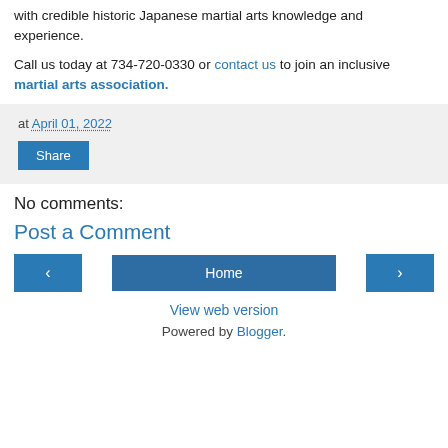with credible historic Japanese martial arts knowledge and experience.
Call us today at 734-720-0330 or contact us to join an inclusive martial arts association.
at April 01, 2022
Share
No comments:
Post a Comment
‹
Home
›
View web version
Powered by Blogger.